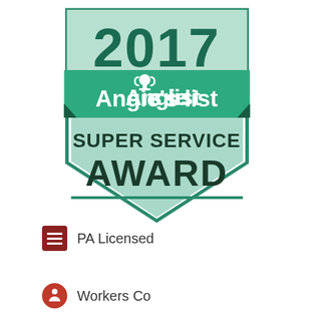[Figure (logo): Angie's List Super Service Award 2017 badge. Shield-shaped badge with mint/teal and dark green colors. Large '2017' text at top in dark teal. Green banner with 'Angie's list' in white bold text with a small trophy icon. Below: 'SUPER SERVICE' in dark green bold caps, and 'AWARD' in very large dark green bold caps. Shield has a downward point at bottom with teal border.]
PA Licensed
Workers Comp